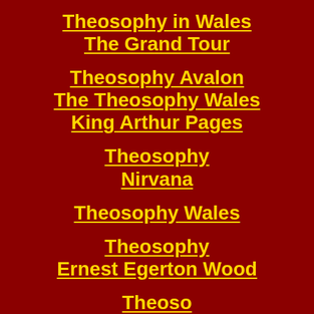Theosophy in Wales The Grand Tour
Theosophy Avalon The Theosophy Wales King Arthur Pages
Theosophy Nirvana
Theosophy Wales
Theosophy Ernest Egerton Wood
Theosophy